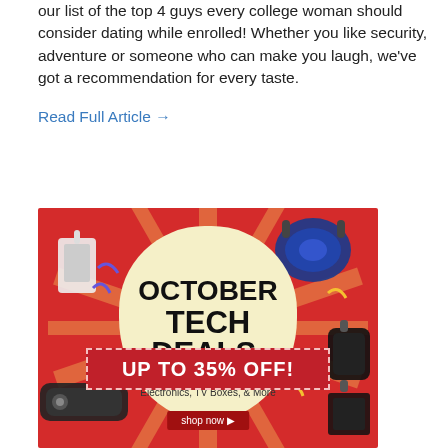our list of the top 4 guys every college woman should consider dating while enrolled! Whether you like security, adventure or someone who can make you laugh, we've got a recommendation for every taste.
Read Full Article →
[Figure (infographic): October Tech Deals advertisement banner on red background with sunburst pattern, featuring an oval/egg-shaped cream-colored center with text 'OCTOBER TECH DEALS. Headphones & Earphones, Smart Electronics, TV Boxes, & More', a red ribbon banner saying 'UP TO 35% OFF!', a 'shop now' button, and various tech product illustrations (headphones, speaker, smartwatch, WiFi extender, etc.) around the edges.]